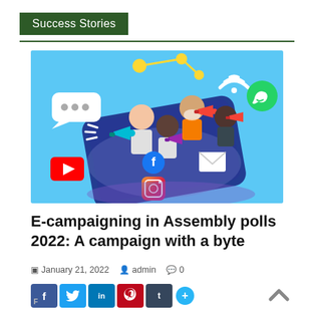Success Stories
[Figure (illustration): Illustration of people emerging from a smartphone holding megaphones, surrounded by social media icons (Facebook, Instagram, YouTube, WhatsApp, email envelope, WiFi symbol, chat bubble) representing e-campaigning on digital platforms.]
E-campaigning in Assembly polls 2022: A campaign with a byte
January 21, 2022   admin   0